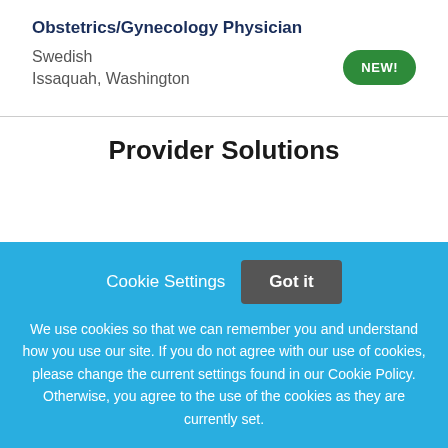Obstetrics/Gynecology Physician
Swedish
Issaquah, Washington
NEW!
Provider Solutions
Cookie Settings
Got it
We use cookies so that we can remember you and understand how you use our site. If you do not agree with our use of cookies, please change the current settings found in our Cookie Policy. Otherwise, you agree to the use of the cookies as they are currently set.